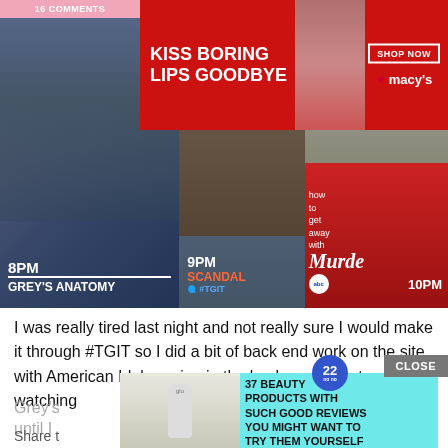16 COMMENTS
[Figure (screenshot): Macy's advertisement banner: KISS BORING LIPS GOODBYE with SHOP NOW button and Macy's star logo]
[Figure (photo): TGIT ABC Thursday lineup promotional image. Three panels: Grey's Anatomy at 8PM, Scandal at 9PM with #TGIT Twitter hashtag, and How to Get Away with Murder at 10PM with ABC logo.]
I was really tired last night and not really sure I would make it through #TGIT so I did a bit of back end work on the site with American Idol running in the background instead of watching Grey's
join in until I
[Figure (screenshot): Advertisement overlay: 37 BEAUTY PRODUCTS WITH SUCH GOOD REVIEWS YOU MIGHT WANT TO TRY THEM YOURSELF. Features a badge with number 22 and a product image with blonde woman.]
Share t
CLOSE